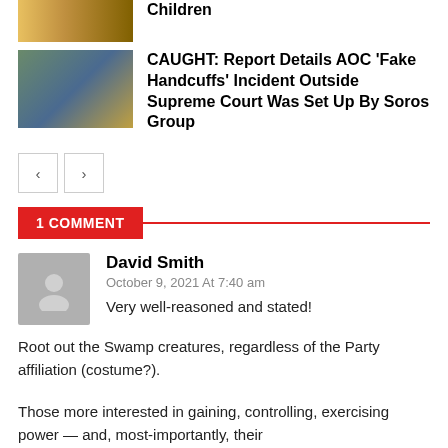[Figure (photo): Partial cropped thumbnail image at top (person/people), with partial article title 'Children' visible]
Children
[Figure (photo): Thumbnail image showing AOC at a protest/crowd scene]
CAUGHT: Report Details AOC ‘Fake Handcuffs’ Incident Outside Supreme Court Was Set Up By Soros Group
< >
1 COMMENT
David Smith
October 9, 2021 At 7:40 am
Very well-reasoned and stated!
Root out the Swamp creatures, regardless of the Party affiliation (costume?).
Those more interested in gaining, controlling, exercising power — and, most-importantly, their